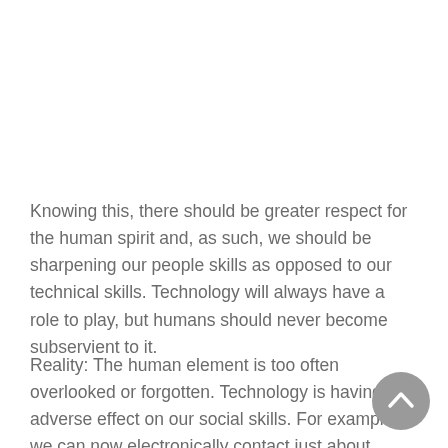Knowing this, there should be greater respect for the human spirit and, as such, we should be sharpening our people skills as opposed to our technical skills. Technology will always have a role to play, but humans should never become subservient to it.
Reality: The human element is too often overlooked or forgotten. Technology is having an adverse effect on our social skills. For example, we can now electronically contact just about anyone anywhere
[Figure (other): Circular scroll-to-top button (grey circle with upward chevron icon)]